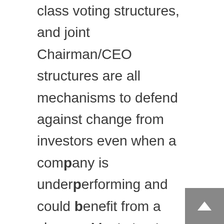class voting structures, and joint Chairman/CEO structures are all mechanisms to defend against change from investors even when a company is underperforming and could benefit from a change. Most structures have been eliminated over time as institutions and investors have embraced an annual cadence of voting for proposals and representatives based on their performance instead of duration of ownership or employment.

Existing token holders should be considered the longest-term investors because they own the token today and are taking the most economic risk. However, at any point in time